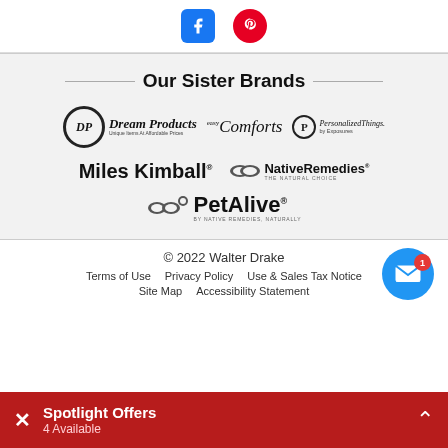[Figure (logo): Facebook and Pinterest social media icons at top]
Our Sister Brands
[Figure (logo): Dream Products logo - circular DP emblem with script text 'Dream Products - Unique Items At Affordable Prices']
[Figure (logo): Easy Comforts logo in italic script]
[Figure (logo): PersonalizedThings by Exposures logo with P circle emblem]
[Figure (logo): Miles Kimball logo in bold sans-serif]
[Figure (logo): NativeRemedies - The Natural Choice logo with leaf icon]
[Figure (logo): PetAlive by Native Remedies, Naturally logo]
© 2022 Walter Drake
Terms of Use   Privacy Policy   Use & Sales Tax Notice
Site Map   Accessibility Statement
Spotlight Offers
4 Available